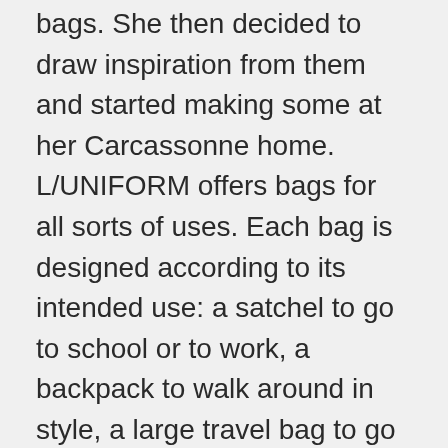bags. She then decided to draw inspiration from them and started making some at her Carcassonne home. L/UNIFORM offers bags for all sorts of uses. Each bag is designed according to its intended use: a satchel to go to school or to work, a backpack to walk around in style, a large travel bag to go on an adventure, or a small one to go on an escapade. You can also find jewel cases, sports bags, eyeglass cases, bread bags, carry-on suitcases & toiletry bags. L/UNIFORM uses only two materials: leather and canvas. From there, imagination runs wild, and colors get added to the mix. The leather can be either natural or colored. The canvas offers all sorts of vibrant hues, and so do the braids, the straps & the handles. The color combinations offer a multitude of possibilities, so everyone can create their own uniform. The brand needed GMA to take care of its Wechat and Weibo